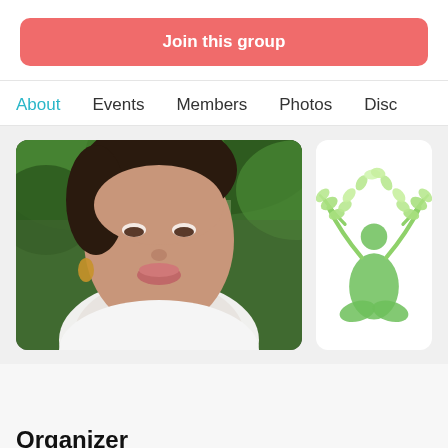Join this group
About  Events  Members  Photos  Disc
[Figure (photo): Close-up photo of a young woman outdoors with green trees in background, wearing a white top and earrings]
[Figure (illustration): Green wellness/yoga logo icon showing a person in meditation pose with leaf branches]
Organizer